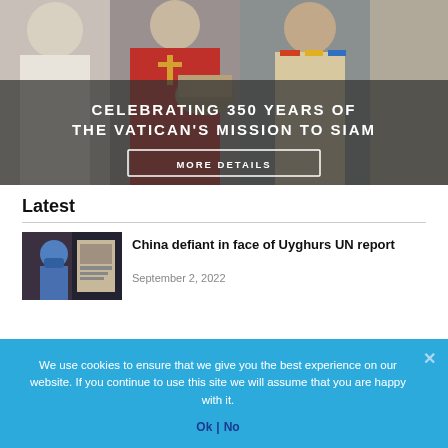[Figure (photo): Banner photo of Catholic clergy and a young girl in traditional dress, with overlay text: CELEBRATING 350 YEARS OF THE VATICAN'S MISSION TO SIAM and a MORE DETAILS button]
Latest
[Figure (photo): Thumbnail image showing a person with covered face and protest imagery related to Uyghurs]
China defiant in face of Uyghurs UN report
September 2, 2022
We use cookies to ensure that we give you the best experience on our website. If you continue to use this site we will assume that you are happy with it.